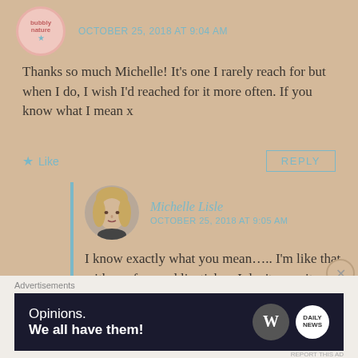OCTOBER 25, 2018 AT 9:04 AM
Thanks so much Michelle! It's one I rarely reach for but when I do, I wish I'd reached for it more often. If you know what I mean x
Like   REPLY
Michelle Lisle
OCTOBER 25, 2018 AT 9:05 AM
I know exactly what you mean….. I'm like that with my fave red lipstick….I don't wear it often but when I do I definitely think I should wear it more
Advertisements
[Figure (other): WordPress advertisement banner with text 'Opinions. We all have them!' and WordPress and other logos on dark background]